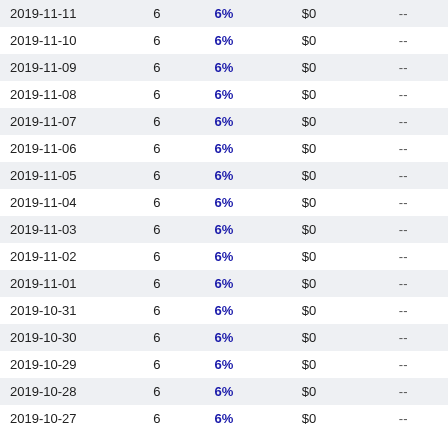| Date |  | Rate | Amount |  |
| --- | --- | --- | --- | --- |
| 2019-11-11 | 6 | 6% | $0 | -- |
| 2019-11-10 | 6 | 6% | $0 | -- |
| 2019-11-09 | 6 | 6% | $0 | -- |
| 2019-11-08 | 6 | 6% | $0 | -- |
| 2019-11-07 | 6 | 6% | $0 | -- |
| 2019-11-06 | 6 | 6% | $0 | -- |
| 2019-11-05 | 6 | 6% | $0 | -- |
| 2019-11-04 | 6 | 6% | $0 | -- |
| 2019-11-03 | 6 | 6% | $0 | -- |
| 2019-11-02 | 6 | 6% | $0 | -- |
| 2019-11-01 | 6 | 6% | $0 | -- |
| 2019-10-31 | 6 | 6% | $0 | -- |
| 2019-10-30 | 6 | 6% | $0 | -- |
| 2019-10-29 | 6 | 6% | $0 | -- |
| 2019-10-28 | 6 | 6% | $0 | -- |
| 2019-10-27 | 6 | 6% | $0 | -- |